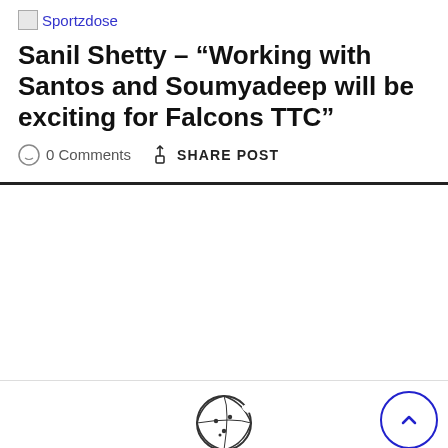Sportzdose
Sanil Shetty – “Working with Santos and Soumyadeep will be exciting for Falcons TTC”
0 Comments   SHARE POST
Our site uses cookies. Learn more about our use of cookies: cookie policy
ACCEPT   REJECT